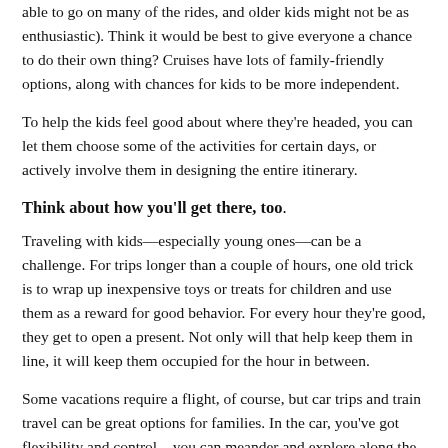able to go on many of the rides, and older kids might not be as enthusiastic). Think it would be best to give everyone a chance to do their own thing? Cruises have lots of family-friendly options, along with chances for kids to be more independent.
To help the kids feel good about where they're headed, you can let them choose some of the activities for certain days, or actively involve them in designing the entire itinerary.
Think about how you'll get there, too.
Traveling with kids—especially young ones—can be a challenge. For trips longer than a couple of hours, one old trick is to wrap up inexpensive toys or treats for children and use them as a reward for good behavior. For every hour they're good, they get to open a present. Not only will that help keep them in line, it will keep them occupied for the hour in between.
Some vacations require a flight, of course, but car trips and train travel can be great options for families. In the car, you've got flexibility and control—you can meander and explore along the way, break the trip up however you like, and pull over whenever you want for rest or a fun activity. You don't have as much control on a train, but there's plenty of space to move around, and kids often find it fun